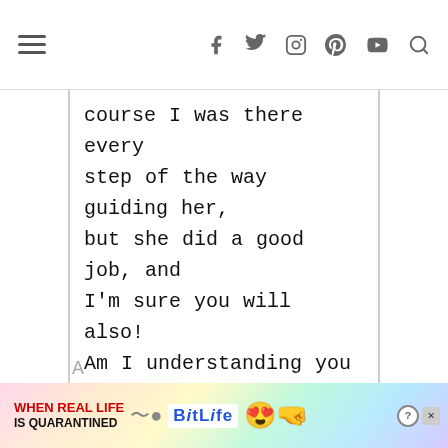≡ [social icons: facebook, twitter, instagram, pinterest, youtube, search]
course I was there every step of the way guiding her, but she did a good job, and I'm sure you will also! Am I understanding you correcting that you're thinking of doing the Cameron Diaz look in your interim kitchen, or your final kitchen? And yes, you
[Figure (screenshot): Advertisement banner: 'WHEN REAL LIFE IS QUARANTINED' with BitLife logo and emoji characters]